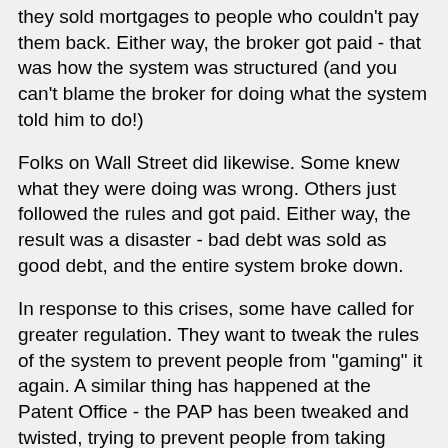they sold mortgages to people who couldn't pay them back. Either way, the broker got paid - that was how the system was structured (and you can't blame the broker for doing what the system told him to do!)
Folks on Wall Street did likewise. Some knew what they were doing was wrong. Others just followed the rules and got paid. Either way, the result was a disaster - bad debt was sold as good debt, and the entire system broke down.
In response to this crises, some have called for greater regulation. They want to tweak the rules of the system to prevent people from "gaming" it again. A similar thing has happened at the Patent Office - the PAP has been tweaked and twisted, trying to prevent people from taking advantage of loopholes.
While it is possible to make the rules of the game more and more complicated in response to efforts to game the system, eventually such rulemaking becomes burdensome. One reason our tax code is so complex is that Congress keeps adding incentives and then trying to fix the rules when people distort those incentives. For example, the rules at